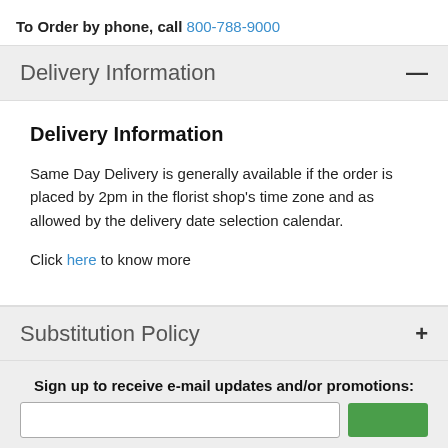To Order by phone, call 800-788-9000
Delivery Information
Delivery Information
Same Day Delivery is generally available if the order is placed by 2pm in the florist shop's time zone and as allowed by the delivery date selection calendar.
Click here to know more
Substitution Policy
Sign up to receive e-mail updates and/or promotions: